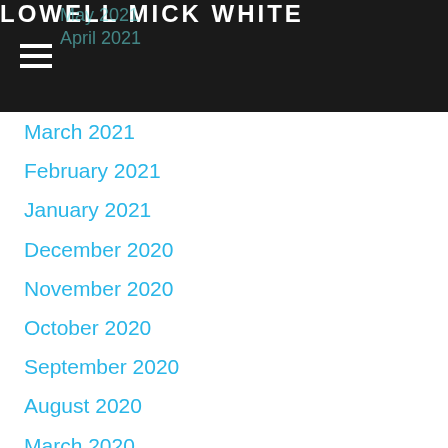LOWELL MICK WHITE
March 2021
February 2021
January 2021
December 2020
November 2020
October 2020
September 2020
August 2020
March 2020
February 2020
January 2020
December 2019
November 2019
October 2019
July 2019
June 2019
May 2019